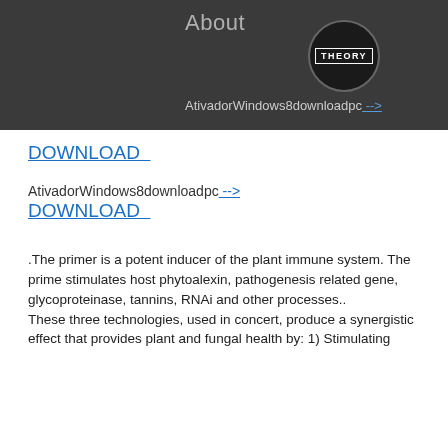About
[Figure (logo): Circular badge with 'THEORY' text in white on dark background]
AtivadorWindows8downloadpc --> DOWNLOAD
AtivadorWindows8downloadpc --> DOWNLOAD
.The primer is a potent inducer of the plant immune system. The prime stimulates host phytoalexin, pathogenesis related gene, glycoproteinase, tannins, RNAi and other processes.. These three technologies, used in concert, produce a synergistic effect that provides plant and fungal health by: 1) Stimulating the immune system; 2) Reinforcing...